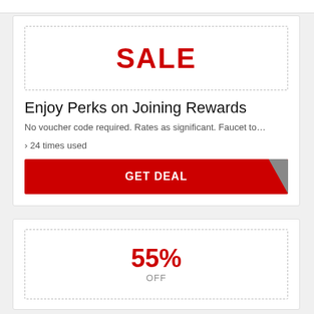[Figure (infographic): Dashed border box with SALE text in red, representing a coupon/deal badge]
Enjoy Perks on Joining Rewards
No voucher code required. Rates as significant. Faucet to…
› 24 times used
GET DEAL
[Figure (infographic): Dashed border box with 55% OFF text in red, representing a discount coupon badge]